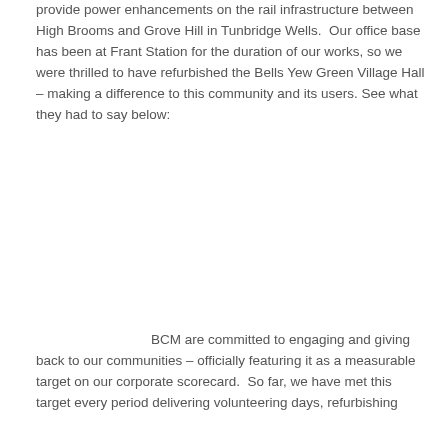provide power enhancements on the rail infrastructure between High Brooms and Grove Hill in Tunbridge Wells.  Our office base has been at Frant Station for the duration of our works, so we were thrilled to have refurbished the Bells Yew Green Village Hall – making a difference to this community and its users. See what they had to say below:
BCM are committed to engaging and giving back to our communities – officially featuring it as a measurable target on our corporate scorecard.  So far, we have met this target every period delivering volunteering days, refurbishing the village hall and donating items and local donations...